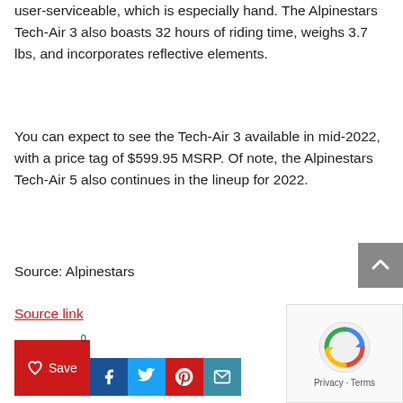user-serviceable, which is especially hand. The Alpinestars Tech-Air 3 also boasts 32 hours of riding time, weighs 3.7 lbs, and incorporates reflective elements.
You can expect to see the Tech-Air 3 available in mid-2022, with a price tag of $599.95 MSRP. Of note, the Alpinestars Tech-Air 5 also continues in the lineup for 2022.
Source: Alpinestars
Source link
[Figure (other): Back to top arrow button (grey square with upward chevron)]
[Figure (other): reCAPTCHA widget showing spinning arrows logo and Privacy - Terms text]
[Figure (other): Social share buttons: Save (heart icon), Facebook, Twitter, Pinterest, Email]